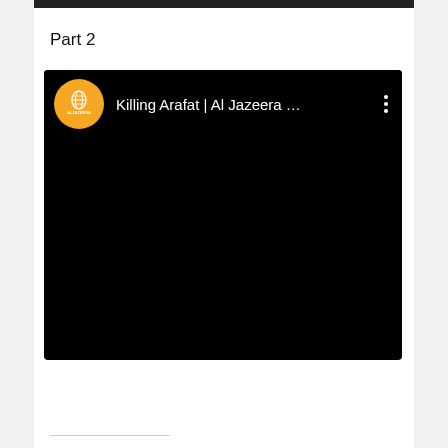Part 2
[Figure (screenshot): A YouTube/video player screenshot showing an Al Jazeera video titled 'Killing Arafat | Al Jazeera ...' with the Al Jazeera orange circular logo on the left and a three-dot menu icon on the right. The main video area is completely black.]